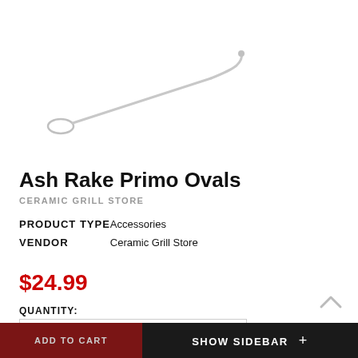[Figure (photo): Product image of an ash rake tool — a long thin metal rod with a curved hook end, shown at a slight diagonal angle on white background]
Ash Rake Primo Ovals
CERAMIC GRILL STORE
| PRODUCT TYPE | Accessories |
| VENDOR | Ceramic Grill Store |
$24.99
QUANTITY:
1
ADD TO CART
SHOW SIDEBAR +